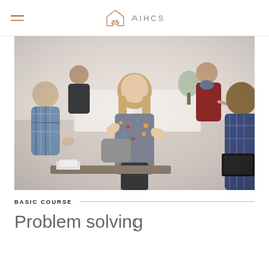AIHCS
[Figure (photo): Group of people in a collaborative discussion setting; a central woman with long blonde hair in a patterned jacket gestures with her hands while speaking; others sit around including a person in plaid on the left and a woman with brown hair on the right holding a black folder; a man in red in the background points.]
BASIC COURSE
Problem solving